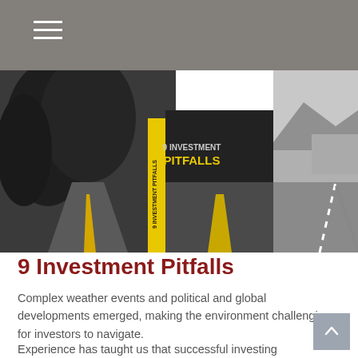[Figure (illustration): A composite image showing a book titled '9 Investment Pitfalls' with a yellow spine, set against a black and white photo of a road with a yellow center line on the left, and a black and white coastal road photo on the right.]
9 Investment Pitfalls
Complex weather events and political and global developments emerged, making the environment challenging for investors to navigate.
Experience has taught us that successful investing